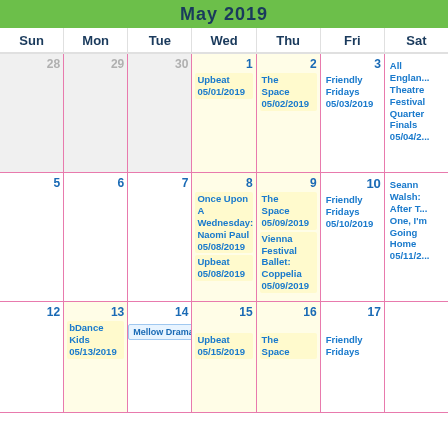May 2019
| Sun | Mon | Tue | Wed | Thu | Fri | Sat |
| --- | --- | --- | --- | --- | --- | --- |
| 28 | 29 | 30 | 1 Upbeat 05/01/2019 | 2 The Space 05/02/2019 | 3 Friendly Fridays 05/03/2019 | All England Theatre Festival Quarter Finals 05/04/2019 |
| 5 | 6 | 7 | 8 Once Upon A Wednesday: Naomi Paul 05/08/2019 | Upbeat 05/08/2019 | 9 The Space 05/09/2019 | Vienna Festival Ballet: Coppelia 05/09/2019 | 10 Friendly Fridays 05/10/2019 | Seann Walsh: After This One, I'm Going Home 05/11/20... |
| 12 | 13 bDance Kids 05/13/2019 | 14 | 15 Upbeat 05/15/2019 | 16 The Space | 17 Friendly Fridays |  |